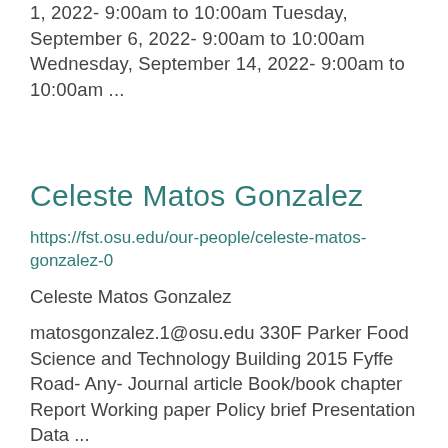1, 2022- 9:00am to 10:00am Tuesday, September 6, 2022- 9:00am to 10:00am Wednesday, September 14, 2022- 9:00am to 10:00am ...
Celeste Matos Gonzalez
https://fst.osu.edu/our-people/celeste-matos-gonzalez-0
Celeste Matos Gonzalez
matosgonzalez.1@osu.edu 330F Parker Food Science and Technology Building 2015 Fyffe Road- Any- Journal article Book/book chapter Report Working paper Policy brief Presentation Data ...